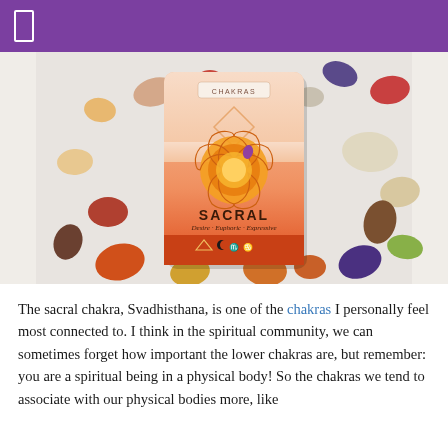[Figure (photo): A chakra card labeled 'SACRAL - Desire · Euphoric · Expressive' with an orange sacral chakra symbol, surrounded by various crystals and gemstones on a white surface.]
The sacral chakra, Svadhisthana, is one of the chakras I personally feel most connected to. I think in the spiritual community, we can sometimes forget how important the lower chakras are, but remember: you are a spiritual being in a physical body! So the chakras we tend to associate with our physical bodies more, like